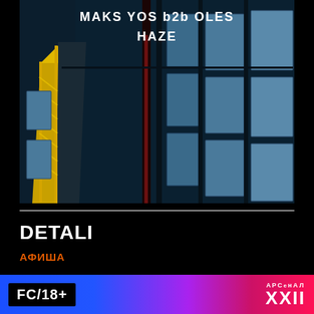[Figure (photo): Aerial photograph of railway yard with train cars and a yellow crane, blue-tinted industrial scene. Text overlay reads 'MAKS YOS b2b OLES' and 'HAZE' in white letters at top center.]
DETALI
АФИША
[Figure (infographic): Banner with blue-to-purple-to-red gradient background. Left side shows black badge with text 'FC/18+'. Right side shows 'АРСёнАЛ XXII' branding in white.]